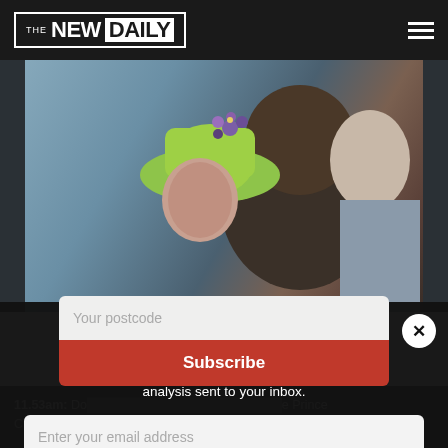THE NEW DAILY
[Figure (photo): Photo of a person wearing a bright green hat with purple flower decorations, viewed through a car window, with another person partially visible behind them.]
Join 1.7 Million Subscribers
Subscribe for free to get the latest breaking news and analysis sent to your inbox.
Enter your email address
Your postcode
Subscribe
11.53am: Do... [partially obscured text] ...e Prince Charles and Camil...